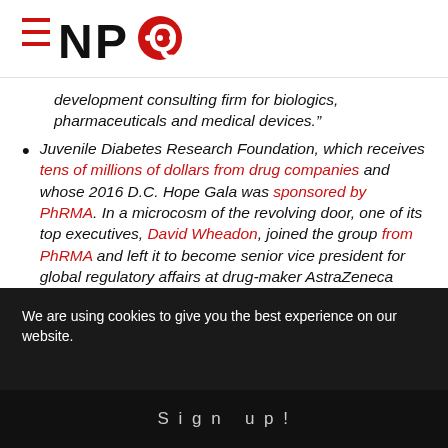NPQ logo
development consulting firm for biologics, pharmaceuticals and medical devices.”
Juvenile Diabetes Research Foundation, which receives tens of millions of dollars from drug companies and whose 2016 D.C. Hope Gala was sponsored by PhRMA. In a microcosm of the revolving door, one of its top executives, David Wheadon, joined the group from PhRMA and left it to become senior vice president for global regulatory affairs at drug-maker AstraZeneca
We are using cookies to give you the best experience on our website. Sign up!